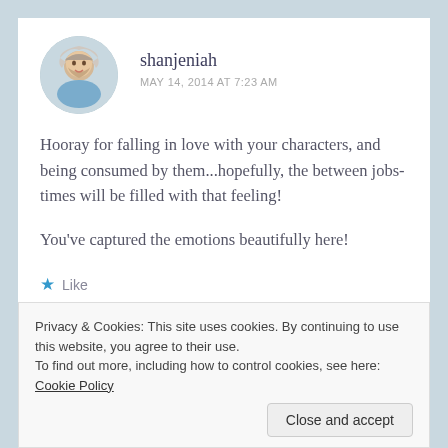[Figure (photo): Circular avatar photo of a smiling woman with gray/blonde hair outdoors]
shanjeniah
MAY 14, 2014 AT 7:23 AM
Hooray for falling in love with your characters, and being consumed by them...hopefully, the between jobs-times will be filled with that feeling!
You've captured the emotions beautifully here!
Like
Privacy & Cookies: This site uses cookies. By continuing to use this website, you agree to their use.
To find out more, including how to control cookies, see here: Cookie Policy
Close and accept